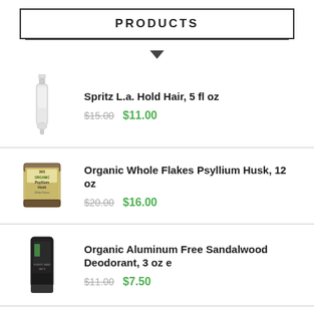PRODUCTS
Spritz L.a. Hold Hair, 5 fl oz — $15.00 / $11.00
Organic Whole Flakes Psyllium Husk, 12 oz — $20.00 / $16.00
Organic Aluminum Free Sandalwood Deodorant, 3 oz e — $11.00 / $7.50
Tea Tree Body Wash...